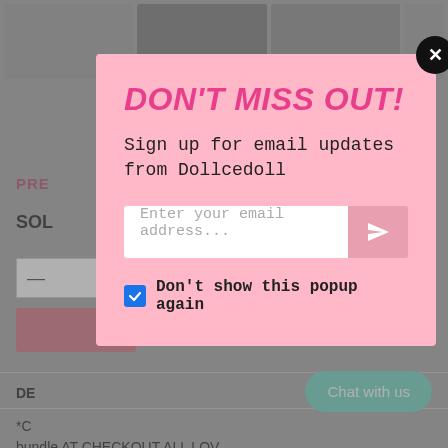[Figure (screenshot): E-commerce product page background showing product images at top, 'PRE...' label in pink, 'SOL...' text, quantity selector, pink button, and description section with text about bundles and dispatch]
DON'T MISS OUT!
Sign up for email updates from Dollcedoll
Enter your email address...
Don't show this popup again
Chat with us